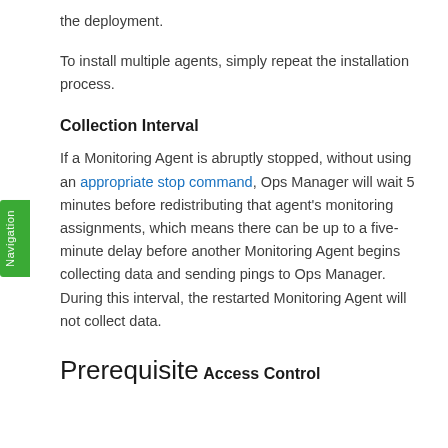the deployment.
To install multiple agents, simply repeat the installation process.
Collection Interval
If a Monitoring Agent is abruptly stopped, without using an appropriate stop command, Ops Manager will wait 5 minutes before redistributing that agent's monitoring assignments, which means there can be up to a five-minute delay before another Monitoring Agent begins collecting data and sending pings to Ops Manager. During this interval, the restarted Monitoring Agent will not collect data.
Prerequisite
Access Control